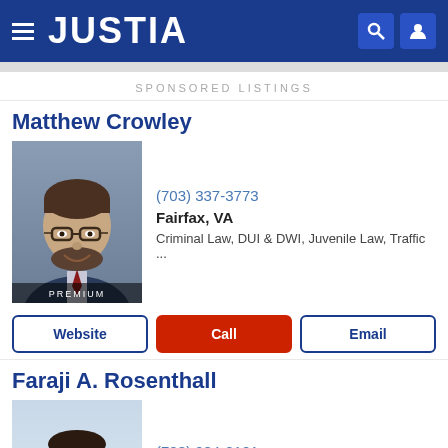JUSTIA
SPONSORED LISTINGS
Matthew Crowley
(703) 337-3773
Fairfax, VA
Criminal Law, DUI & DWI, Juvenile Law, Traffic ...
Website
Call
Email
Faraji A. Rosenthall
(703) 934-0101
Fairfax, VA